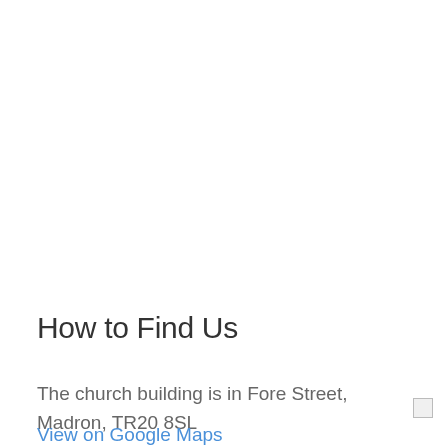How to Find Us
The church building is in Fore Street, Madron, TR20 8SL
View on Google Maps